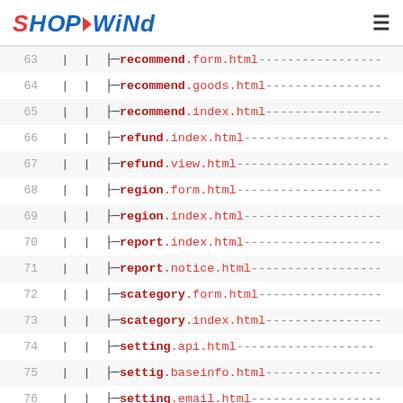SHOPWIND
63 | | ├─recommend.form.html-----------------
64 | | ├─recommend.goods.html----------------
65 | | ├─recommend.index.html----------------
66 | | ├─refund.index.html-------------------
67 | | ├─refund.view.html--------------------
68 | | ├─region.form.html-------------------
69 | | ├─region.index.html------------------
70 | | ├─report.index.html------------------
71 | | ├─report.notice.html-----------------
72 | | ├─scategory.form.html----------------
73 | | ├─scategory.index.html---------------
74 | | ├─setting.api.html-------------------
75 | | ├─settig.baseinfo.html---------------
76 | | ├─setting.email.html-----------------